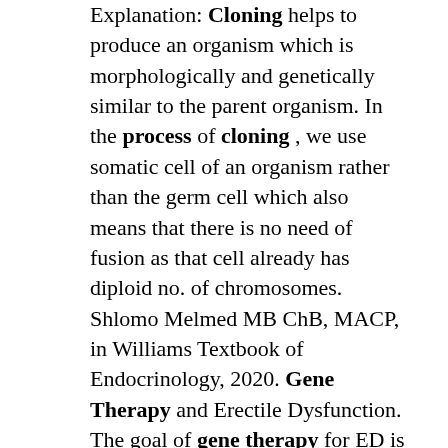Explanation: Cloning helps to produce an organism which is morphologically and genetically similar to the parent organism. In the process of cloning , we use somatic cell of an organism rather than the germ cell which also means that there is no need of fusion as that cell already has diploid no. of chromosomes. Shlomo Melmed MB ChB, MACP, in Williams Textbook of Endocrinology, 2020. Gene Therapy and Erectile Dysfunction. The goal of gene therapy for ED is to introduce novel genetic material into the cavernosal smooth muscle cells to restore normal cellular function and produce a therapeutic effect. 533–535 Gene therapy has been proposed as a treatment option for diseases that have. 1. Dolly-The Cloned Sheep Introduction: Dolly was a female Finn Dorset sheep, and the first mammal cloned from an adult somatic cell. It was born on July 5th, 1996, at the Roslin Institute